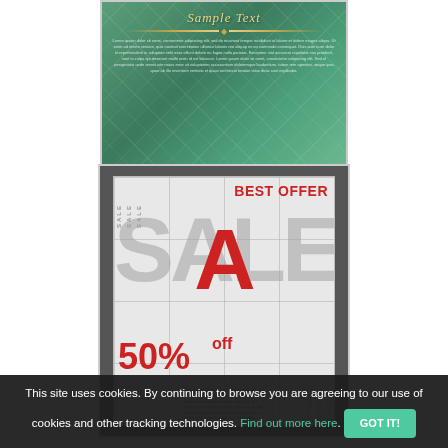[Figure (illustration): Green decorative card with diamond lattice pattern, gold ornamental divider, italic 'Sample Text' heading, and small lorem ipsum body text on teal/green background]
[Figure (illustration): Sale promotional poster with dark gray border. Large gray 'SALE' text with red 'A' overlay, 'BEST OFFER' in red top right, '50% off' in large red text bottom left, vertical 'SALE' text strips, small lorem ipsum text bottom right]
This site uses cookies. By continuing to browse you are agreeing to our use of cookies and other tracking technologies. Find out more here. GOT IT!